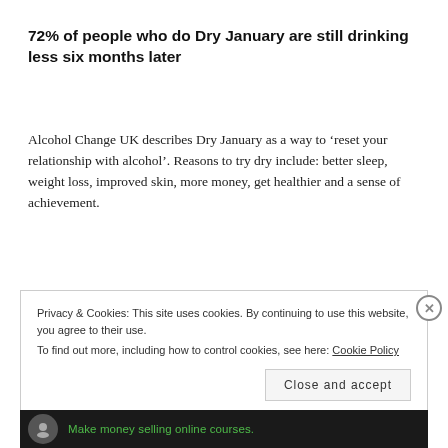72% of people who do Dry January are still drinking less six months later
Alcohol Change UK describes Dry January as a way to ‘reset your relationship with alcohol’. Reasons to try dry include: better sleep, weight loss, improved skin, more money, get healthier and a sense of achievement.
Privacy & Cookies: This site uses cookies. By continuing to use this website, you agree to their use.
To find out more, including how to control cookies, see here: Cookie Policy
Close and accept